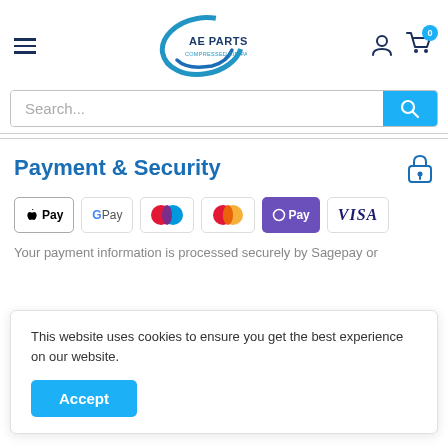[Figure (logo): AE Parts Compressed Air Parts logo with blue swoosh]
Search...
Payment & Security
[Figure (infographic): Payment method icons: Apple Pay, Google Pay, Maestro, Mastercard, O Pay, Visa]
Your payment information is processed securely by Sagepay or
This website uses cookies to ensure you get the best experience on our website.